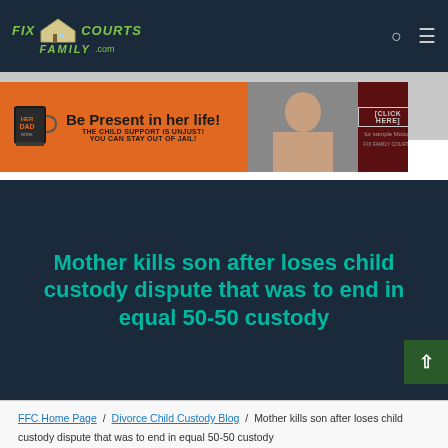FIX FAMILY COURTS .com
[Figure (other): Advertisement banner: 'Be Present in her life! THE CHILD SUPPORT IS UNJUST! YOU CAN STAY OUT OF JAIL!' with HER DAD mug graphic, woman photo, and CLICK HERE button]
Mother kills son after loses child custody dispute that was to end in equal 50-50 custody
FFC Home Page / Divorce Child Custody Blog / Mother kills son after loses child custody dispute that was to end in equal 50-50 custody